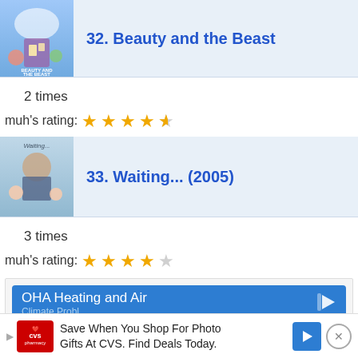[Figure (photo): Beauty and the Beast movie poster thumbnail]
32. Beauty and the Beast
2 times
muh's rating: ★★★★½ (4.5 stars)
[Figure (photo): Waiting... (2005) movie poster thumbnail]
33. Waiting... (2005)
3 times
muh's rating: ★★★★ (4 stars)
[Figure (screenshot): Advertisement: OHA Heating and Air]
[Figure (screenshot): Advertisement: CVS Pharmacy - Save When You Shop For Photo Gifts At CVS. Find Deals Today.]